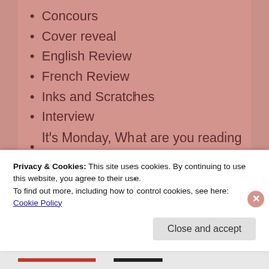Concours
Cover reveal
English Review
French Review
Inks and Scratches
Interview
It's Monday, What are you reading ?
Monthly Recap
Promo
Random Reads
Release Day
Privacy & Cookies: This site uses cookies. By continuing to use this website, you agree to their use.
To find out more, including how to control cookies, see here: Cookie Policy